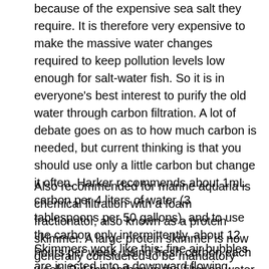because of the expensive sea salt they require. It is therefore very expensive to make the massive water changes required to keep pollution levels low enough for salt-water fish. So it is in everyone's best interest to purify the old water through carbon filtration. A lot of debate goes on as to how much carbon is needed, but current thinking is that you should use only a little carbon but change it often. Harker recommends about 1mL carbon per 4 liters of water (3 tablespoons per 50 gallons), and to use the carbon only intermittently, about 12 hours per week, using fresh carbon each week. Put the carbon in the filter so water flows through it, but only slowly.
Also recommended for marine aquaria is chemical filtration with a foam fractionator, also known as a protein skimmer. A large protein skimmer is now generally considered to be mandatory equipment for all salt-water tanks.
Skimmers work like this: fine air bubbles are injected into a downward flowing column of water. Hydrophobic molecules